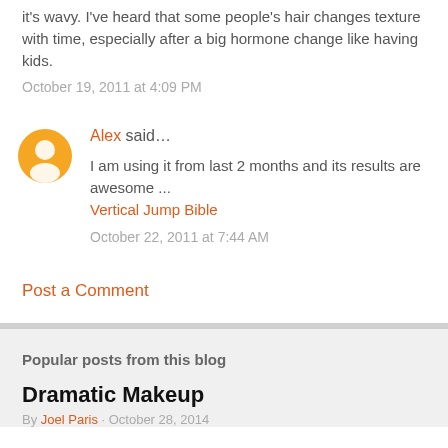it's wavy. I've heard that some people's hair changes texture with time, especially after a big hormone change like having kids.
October 19, 2011 at 4:09 PM
Alex said...
I am using it from last 2 months and its results are awesome ...
Vertical Jump Bible
October 22, 2011 at 7:44 AM
Post a Comment
Popular posts from this blog
Dramatic Makeup
By Joel Paris · October 28, 2014